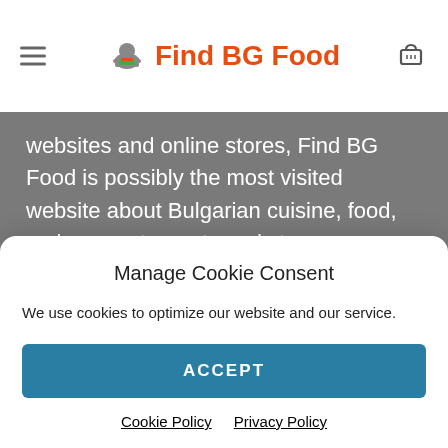Find BG Food
websites and online stores, Find BG Food is possibly the most visited website about Bulgarian cuisine, food, recipes, restaurants and stores anywhere in the world.
QUICK LINKS
Manage Cookie Consent
We use cookies to optimize our website and our service.
ACCEPT
Cookie Policy  Privacy Policy